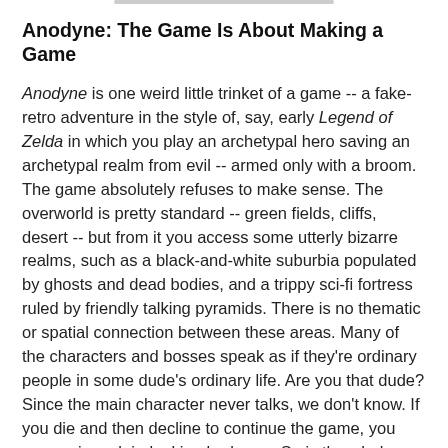Anodyne: The Game Is About Making a Game
Anodyne is one weird little trinket of a game -- a fake-retro adventure in the style of, say, early Legend of Zelda in which you play an archetypal hero saving an archetypal realm from evil -- armed only with a broom. The game absolutely refuses to make sense. The overworld is pretty standard -- green fields, cliffs, desert -- but from it you access some utterly bizarre realms, such as a black-and-white suburbia populated by ghosts and dead bodies, and a trippy sci-fi fortress ruled by friendly talking pyramids. There is no thematic or spatial connection between these areas. Many of the characters and bosses speak as if they're ordinary people in some dude's ordinary life. Are you that dude? Since the main character never talks, we don't know. If you die and then decline to continue the game, you appear in a plain-looking bedroom. So is the whole game a dream? A metaphor? If the latter, what the fuck does it signify? The game's so obtuse that you could pick any explanation you wanted.